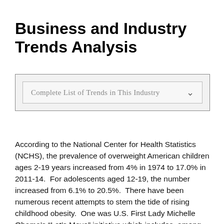Business and Industry Trends Analysis
[Figure (other): Dropdown UI element labeled 'Complete List of Trends in This Industry' with a chevron/arrow icon, inside a bordered box with light gray background]
According to the National Center for Health Statistics (NCHS), the prevalence of overweight American children ages 2-19 years increased from 4% in 1974 to 17.0% in 2011-14.  For adolescents aged 12-19, the number increased from 6.1% to 20.5%.  There have been numerous recent attempts to stem the tide of rising childhood obesity.  One was U.S. First Lady Michelle Obama's “Let’s Move” initiative which includes, among other things, a call for significant federal funding over 10 years to improve school meals.  Companies including Aramark, Sodexo and Chartwells School Dining Services pledged to cut salt and fat content and